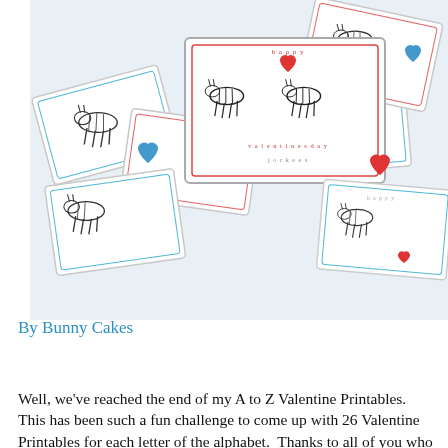[Figure (photo): Photo of Valentine's Day printable cards featuring zebras and hearts in red, blue, and pink colors arranged in a scattered layout. One card in the center reads 'happy valentines day jockeys'.]
By Bunny Cakes
Well, we've reached the end of my A to Z Valentine Printables.
This has been such a fun challenge to come up with 26 Valentine Printables for each letter of the alphabet.  Thanks to all of you who followed along and encouraged me.  I'm not going to lie, some letters were definitely harder than others!  Not only that, but I don't think I've ever posted for 26 days in a row!  Whew!  I should also point out that I've gained some weight sitting at the computer blogging and eating Valentine candy every day!  How do those 'everyday'